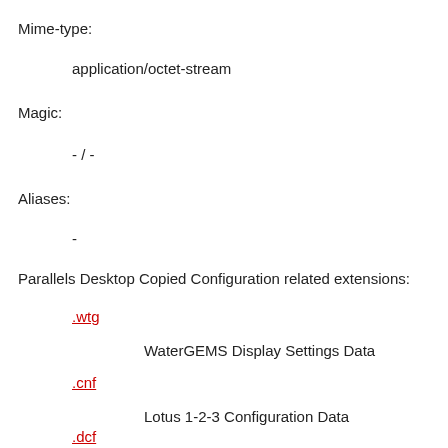Mime-type:
application/octet-stream
Magic:
- / -
Aliases:
-
Parallels Desktop Copied Configuration related extensions:
.wtg
WaterGEMS Display Settings Data
.cnf
Lotus 1-2-3 Configuration Data
.dcf